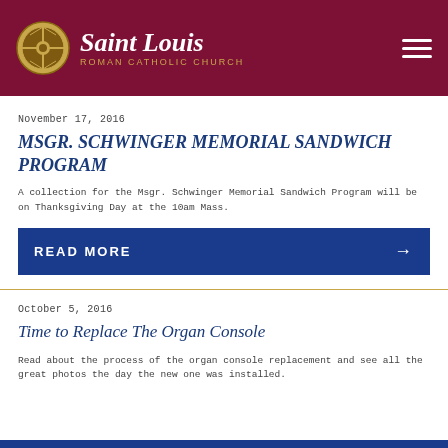Saint Louis ROMAN CATHOLIC CHURCH
November 17, 2016
MSGR. SCHWINGER MEMORIAL SANDWICH PROGRAM
A collection for the Msgr. Schwinger Memorial Sandwich Program will be on Thanksgiving Day at the 10am Mass.
READ MORE →
October 5, 2016
Time to Replace The Organ Console
Read about the process of the organ console replacement and see all the great photos the day the new one was installed.